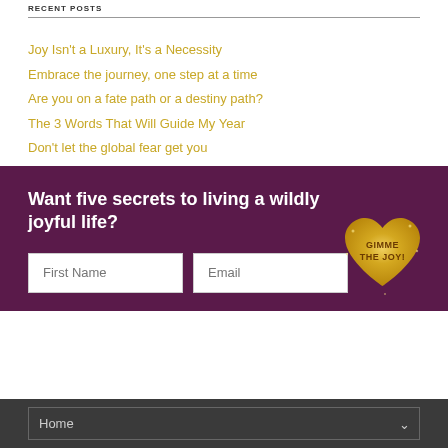RECENT POSTS
Joy Isn't a Luxury, It's a Necessity
Embrace the journey, one step at a time
Are you on a fate path or a destiny path?
The 3 Words That Will Guide My Year
Don't let the global fear get you
Want five secrets to living a wildly joyful life?
[Figure (illustration): Gold glitter heart shape with text 'GIMME THE JOY!' used as a call-to-action button]
Home dropdown navigation bar at the bottom